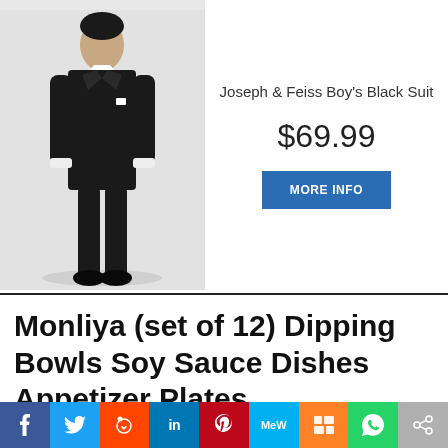[Figure (photo): Boy wearing Joseph & Feiss black suit, standing against light grey background]
Joseph & Feiss Boy's Black Suit
$69.99
MORE INFO
Monliya (set of 12) Dipping Bowls Soy Sauce Dishes Appetizer Plates
[Figure (infographic): Social share bar with icons for Facebook, Twitter, Reddit, LinkedIn, Pinterest, MeWe, Mix, WhatsApp, Share]